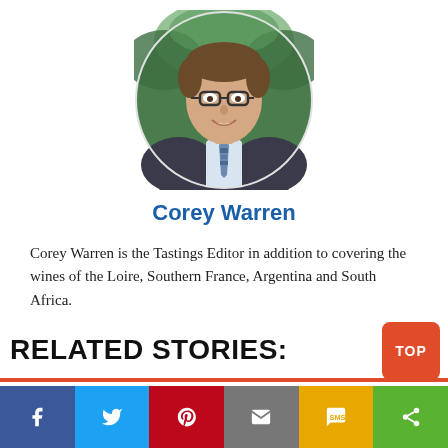[Figure (photo): Circular cropped headshot of Corey Warren, a young man with glasses, wearing a grey suit and floral tie, smiling outdoors with green foliage in background.]
Corey Warren
Corey Warren is the Tastings Editor in addition to covering the wines of the Loire, Southern France, Argentina and South Africa.
RELATED STORIES:
[Figure (other): Social sharing bar with icons for Facebook, Twitter, Pinterest, Email, SMS, and Share, and a red TOP button]